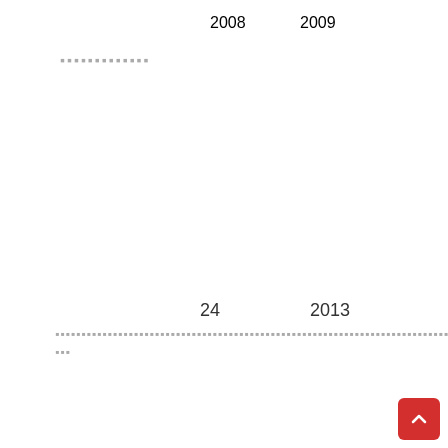2008    2009
▪▪▪▪▪▪▪▪▪▪▪▪▪
24    2013
▪▪▪▪▪▪▪▪▪▪▪▪▪▪▪▪▪▪▪▪▪▪▪▪▪▪▪▪▪▪▪▪▪▪▪▪▪▪▪▪▪▪▪▪▪▪▪▪▪▪▪▪▪▪▪▪▪▪▪▪▪▪▪▪▪▪▪▪▪▪▪▪▪▪▪▪▪▪▪▪▪▪▪▪▪▪▪▪▪▪▪▪▪▪▪▪▪▪▪▪▪▪▪▪▪▪▪▪▪▪▪▪▪▪▪▪
[Figure (infographic): Social media share buttons: Facebook, Twitter, WhatsApp, Reddit, Share Plus — two rows of buttons, plus a scroll-to-top red button]